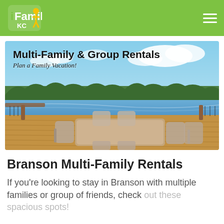iFamilyKC
[Figure (photo): Outdoor lakeside deck with a large rectangular table and multiple Adirondack-style chairs, overlooking a lake surrounded by trees under a partly cloudy sky. Overlaid text reads 'Multi-Family & Group Rentals' and 'Plan a Family Vacation!']
Branson Multi-Family Rentals
If you're looking to stay in Branson with multiple families or group of friends, check out these spacious spots!